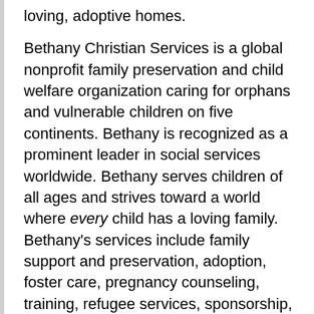loving, adoptive homes.
Bethany Christian Services is a global nonprofit family preservation and child welfare organization caring for orphans and vulnerable children on five continents. Bethany is recognized as a prominent leader in social services worldwide. Bethany serves children of all ages and strives toward a world where every child has a loving family. Bethany's services include family support and preservation, adoption, foster care, pregnancy counseling, training, refugee services, sponsorship, and infertility ministry.
Because of Bethany Christian Services, there are children across Northern Virginia and across the globe that can say the same words as Corduroy, "This must be a home. I have always wanted a